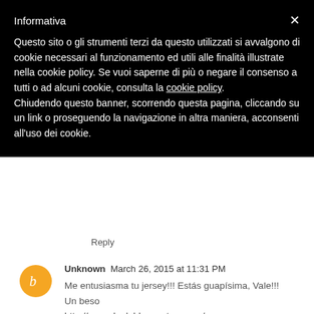Informativa
Questo sito o gli strumenti terzi da questo utilizzati si avvalgono di cookie necessari al funzionamento ed utili alle finalità illustrate nella cookie policy. Se vuoi saperne di più o negare il consenso a tutti o ad alcuni cookie, consulta la cookie policy. Chiudendo questo banner, scorrendo questa pagina, cliccando su un link o proseguendo la navigazione in altra maniera, acconsenti all'uso dei cookie.
Reply
Unknown  March 26, 2015 at 11:31 PM
Me entusiasma tu jersey!!! Estás guapísima, Vale!!!
Un beso
http://cocoolook.blogspot.com.es/
Reply